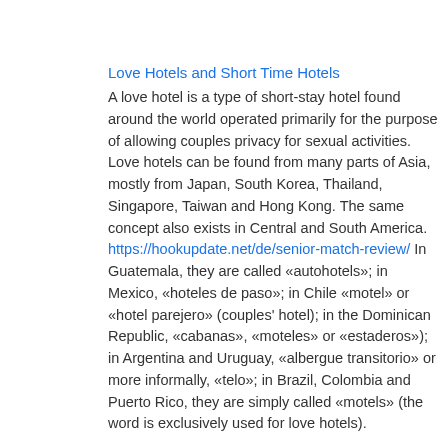Love Hotels and Short Time Hotels
A love hotel is a type of short-stay hotel found around the world operated primarily for the purpose of allowing couples privacy for sexual activities. Love hotels can be found from many parts of Asia, mostly from Japan, South Korea, Thailand, Singapore, Taiwan and Hong Kong. The same concept also exists in Central and South America. https://hookupdate.net/de/senior-match-review/ In Guatemala, they are called «autohotels»; in Mexico, «hoteles de paso»; in Chile «motel» or «hotel parejero» (couples' hotel); in the Dominican Republic, «cabanas», «moteles» or «estaderos»); in Argentina and Uruguay, «albergue transitorio» or more informally, «telo»; in Brazil, Colombia and Puerto Rico, they are simply called «motels» (the word is exclusively used for love hotels).
Short-time hotels are little bit different than love hotels. Short-time stay hotels are basically just normal hotels with basic decoration, but you can rent a room for a short time with your sex partner. Love